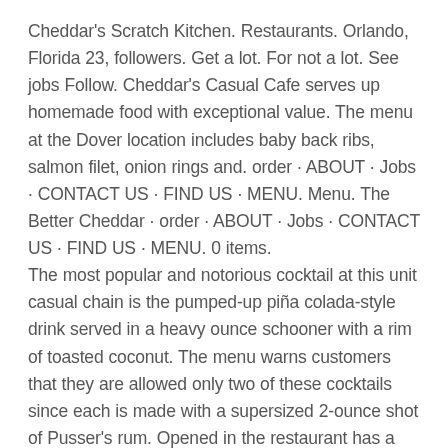Cheddar's Scratch Kitchen. Restaurants. Orlando, Florida 23, followers. Get a lot. For not a lot. See jobs Follow. Cheddar's Casual Cafe serves up homemade food with exceptional value. The menu at the Dover location includes baby back ribs, salmon filet, onion rings and. order · ABOUT · Jobs · CONTACT US · FIND US · MENU. Menu. The Better Cheddar · order · ABOUT · Jobs · CONTACT US · FIND US · MENU. 0 items.
The most popular and notorious cocktail at this unit casual chain is the pumped-up piña colada-style drink served in a heavy ounce schooner with a rim of toasted coconut. The menu warns customers that they are allowed only two of these cocktails since each is made with a supersized 2-ounce shot of Pusser's rum. Opened in the restaurant has a full-service dining restaurant with a menu featuring different types of hamburgers offered at an affordable price. The brand proved successful, and by